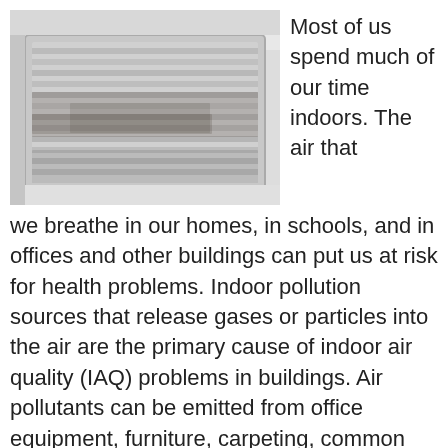[Figure (photo): Close-up photo of a dusty ceiling air vent with horizontal metal slats, viewed from below at an angle.]
Most of us spend much of our time indoors. The air that we breathe in our homes, in schools, and in offices and other buildings can put us at risk for health problems. Indoor pollution sources that release gases or particles into the air are the primary cause of indoor air quality (IAQ) problems in buildings. Air pollutants can be emitted from office equipment, furniture, carpeting, common chemicals like cleaning supplies and